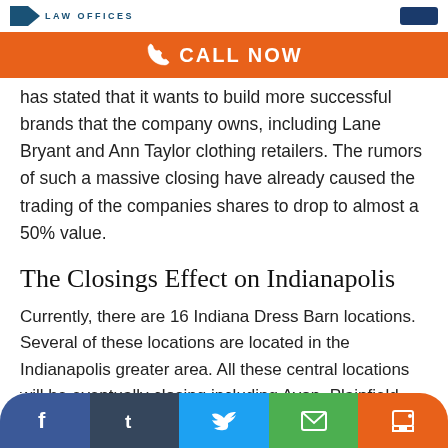LAW OFFICES
[Figure (infographic): Orange call-to-action banner with phone icon and CALL NOW text]
has stated that it wants to build more successful brands that the company owns, including Lane Bryant and Ann Taylor clothing retailers. The rumors of such a massive closing have already caused the trading of the companies shares to drop to almost a 50% value.
The Closings Effect on Indianapolis
Currently, there are 16 Indiana Dress Barn locations. Several of these locations are located in the Indianapolis greater area. All these central locations will be eventually closing including Avon, Plainfield, and Noblesville. The retailer has been popular for quite some time in Indiana. The brand itself is 50 years old. It has served the retail
f  t  (Twitter)  (Email)  (Print)